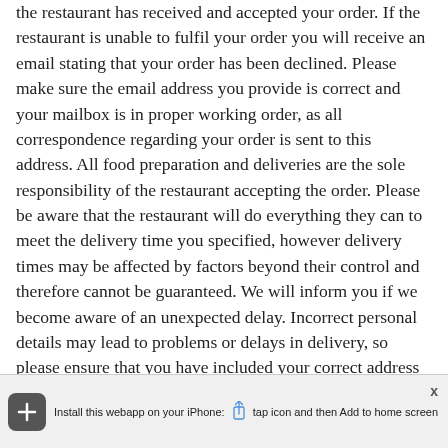the restaurant has received and accepted your order. If the restaurant is unable to fulfil your order you will receive an email stating that your order has been declined. Please make sure the email address you provide is correct and your mailbox is in proper working order, as all correspondence regarding your order is sent to this address. All food preparation and deliveries are the sole responsibility of the restaurant accepting the order. Please be aware that the restaurant will do everything they can to meet the delivery time you specified, however delivery times may be affected by factors beyond their control and therefore cannot be guaranteed. We will inform you if we become aware of an unexpected delay. Incorrect personal details may lead to problems or delays in delivery, so please ensure that you have included your correct address (including postcode), email address and contact mobile number when ordering.
Install this webapp on your iPhone: [share icon] tap icon and then Add to home screen